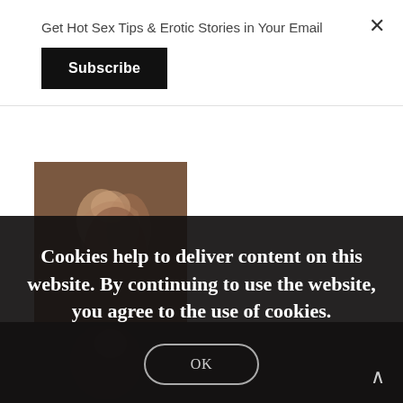Get Hot Sex Tips & Erotic Stories in Your Email
Subscribe
[Figure (photo): Two people kissing intimately, close-up, warm brown tones]
Cookies help to deliver content on this website. By continuing to use the website, you agree to the use of cookies.
OK
[Figure (photo): Dark photo, partially visible figure in shadows]